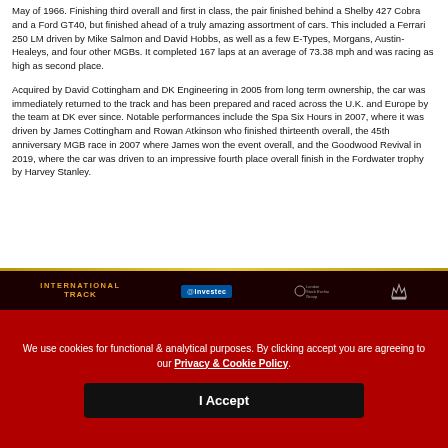May of 1966. Finishing third overall and first in class, the pair finished behind a Shelby 427 Cobra and a Ford GT40, but finished ahead of a truly amazing assortment of cars. This included a Ferrari 250 LM driven by Mike Salmon and David Hobbs, as well as a few E-Types, Morgans, Austin-Healeys, and four other MGBs. It completed 167 laps at an average of 73.38 mph and was racing as high as second place.
Acquired by David Cottingham and DK Engineering in 2005 from long term ownership, the car was immediately returned to the track and has been prepared and raced across the U.K. and Europe by the team at DK ever since. Notable performances include the Spa Six Hours in 2007, where it was driven by James Cottingham and Rowan Atkinson who finished thirteenth overall, the 45th anniversary MGB race in 2007 where James won the event overall, and the Goodwood Revival in 2019, where the car was driven to an impressive fourth place overall finish in the Fordwater trophy by Harvey Stanley.
[Figure (logo): Sponsor logos row: International Track, @Investec, London Stock Exchange Group, Crown logo]
We use cookies for functional & analytical purposes. By clicking accept you are agreeing to our Privacy & Cookie Policy.